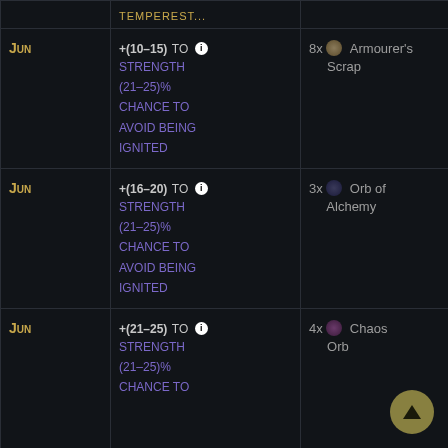| NPC | Modifier | Cost | Item Slot |  |
| --- | --- | --- | --- | --- |
| Jun | +(10–15) to Strength (21–25)% chance to Avoid being Ignited | 8x Armourer's Scrap | Body Armour, Shield | U... |
| Jun | +(16–20) to Strength (21–25)% chance to Avoid being Ignited | 3x Orb of Alchemy | Body Armour, Shield | U... |
| Jun | +(21–25) to Strength (21–25)% chance to | 4x Chaos Orb | Body Armour, Shield | U... |